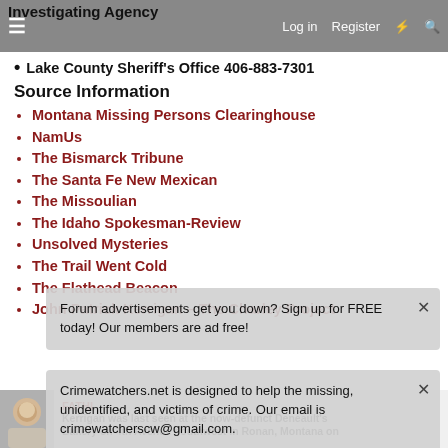Investigating Agency | Log in | Register
Lake County Sheriff's Office 406-883-7301
Source Information
Montana Missing Persons Clearinghouse
NamUs
The Bismarck Tribune
The Santa Fe New Mexican
The Missoulian
The Idaho Spokesman-Review
Unsolved Mysteries
The Trail Went Cold
The Flathead Beacon
John Patrick Kerrigan – The Charley Project
edited by staff to add media link
Forum advertisements get you down? Sign up for FREE today! Our members are ad free!
Crimewatchers.net is designed to help the missing, unidentified, and victims of crime. Our email is crimewatcherscw@gmail.com.
FATHI... Kerrigan was last seen at the now-defunct Deneault's Bakery on 4th Avenue southwest in Ronan, Montana on